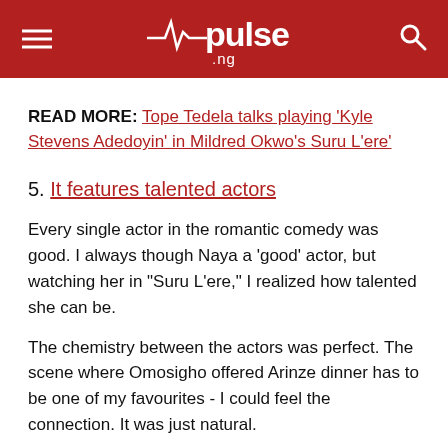pulse.ng
READ MORE: Tope Tedela talks playing 'Kyle Stevens Adedoyin' in Mildred Okwo's Suru L'ere'
5. It features talented actors
Every single actor in the romantic comedy was good. I always though Naya a 'good' actor, but watching her in "Suru L'ere," I realized how talented she can be.
The chemistry between the actors was perfect. The scene where Omosigho offered Arinze dinner has to be one of my favourites - I could feel the connection. It was just natural.
Even the cameo appearances by Dominic and Linda